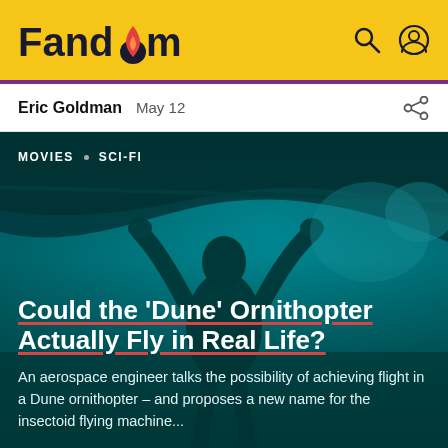Fandom
Eric Goldman   May 12
[Figure (photo): A person in a dark suit gripping the underside of a large wing-like aircraft structure, against a teal-tinted sky. Scene from the Dune ornithopter. Categories overlay text: MOVIES · SCI-FI. Article title overlay: Could the 'Dune' Ornithopter Actually Fly in Real Life? Subtitle: An aerospace engineer talks the possibility of achieving flight in a Dune ornithopter – and proposes a new name for the insectoid flying machine...]